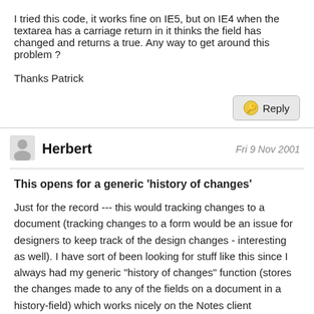I tried this code, it works fine on IE5, but on IE4 when the textarea has a carriage return in it thinks the field has changed and returns a true. Any way to get around this problem ?
Thanks Patrick
Reply
Herbert
Fri 9 Nov 2001
This opens for a generic 'history of changes'
Just for the record --- this would tracking changes to a document (tracking changes to a form would be an issue for designers to keep track of the design changes - interesting as well). I have sort of been looking for stuff like this since I always had my generic "history of changes" function (stores the changes made to any of the fields on a document in a history-field) which works nicely on the Notes client (querySave), but I had problems getting this to work from the web. Using the mentioned